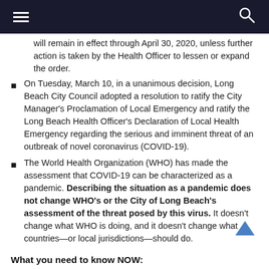≡  🔍
will remain in effect through April 30, 2020, unless further action is taken by the Health Officer to lessen or expand the order.
On Tuesday, March 10, in a unanimous decision, Long Beach City Council adopted a resolution to ratify the City Manager's Proclamation of Local Emergency and ratify the Long Beach Health Officer's Declaration of Local Health Emergency regarding the serious and imminent threat of an outbreak of novel coronavirus (COVID-19).
The World Health Organization (WHO) has made the assessment that COVID-19 can be characterized as a pandemic. Describing the situation as a pandemic does not change WHO's or the City of Long Beach's assessment of the threat posed by this virus. It doesn't change what WHO is doing, and it doesn't change what countries—or local jurisdictions—should do.
What you need to know NOW: